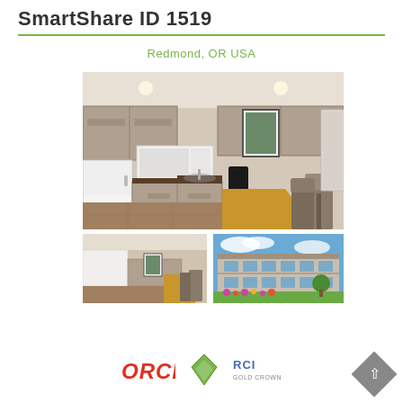SmartShare ID 1519
Redmond, OR USA
[Figure (photo): Interior kitchen photo of a vacation unit showing wood-tone cabinets, white refrigerator, white microwave, countertop seating bar with two grey chairs, and hardwood-style flooring]
[Figure (photo): Interior thumbnail photo showing kitchen and dining area with similar wood cabinets and bar seating]
[Figure (photo): Exterior thumbnail photo of a multi-story hotel/resort building with green lawn and flowers under blue sky with clouds]
[Figure (logo): ORCI logo in red italic text at bottom of page]
[Figure (logo): Diamond shaped green logo]
[Figure (logo): RCI GOLD CROWN logo text in blue]